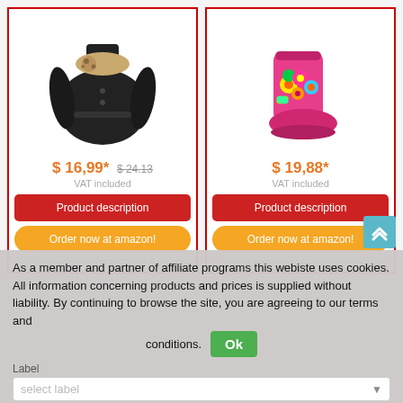[Figure (photo): Black puffer jacket with leopard print scarf (left product)]
[Figure (photo): Pink floral rain boots (right product)]
$ 16,99* $ 24.13
VAT included
Product description
Order now at amazon!
*last updated on 17.12.2017 at 8:51.
$ 19,88*
VAT included
Product description
Order now at amazon!
*last updated on 17.12.2017 at 8:49.
As a member and partner of affiliate programs this webiste uses cookies. All information concerning products and prices is supplied without liability. By continuing to browse the site, you are agreeing to our terms and conditions.
Ok